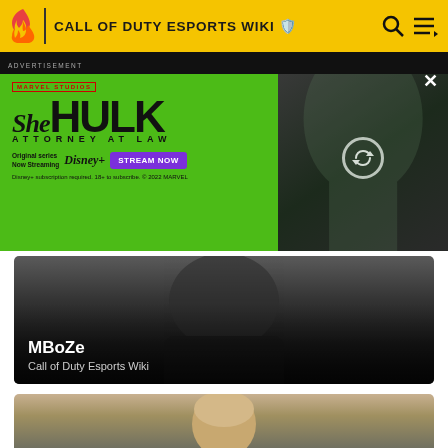CALL OF DUTY ESPORTS WIKI
ADVERTISEMENT
[Figure (photo): She-Hulk Attorney at Law Marvel Studios advertisement on bright green background with Disney+ Stream Now button and actress photo]
[Figure (photo): MBoZe player photo – dark moody portrait of a man in a black turtleneck with name overlay]
MBoZe
Call of Duty Esports Wiki
[Figure (photo): Second player profile photo showing top of a blonde-haired person's head, partially cropped]